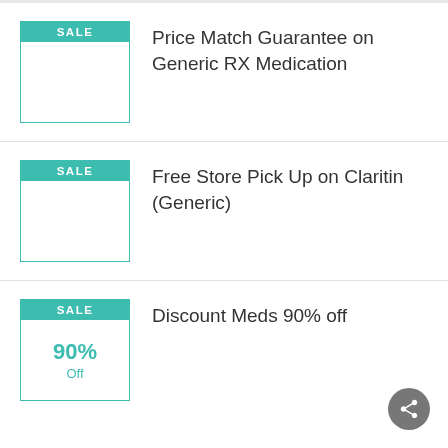SALE — Price Match Guarantee on Generic RX Medication
SALE — Free Store Pick Up on Claritin (Generic)
SALE — Discount Meds 90% off — 90% Off